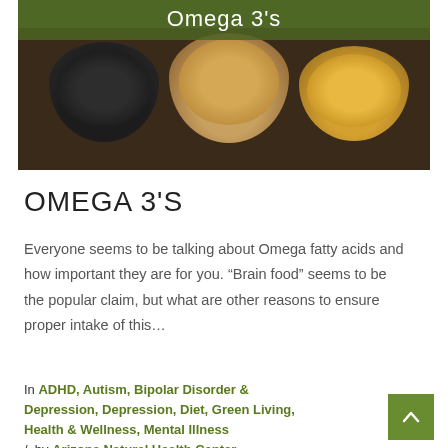[Figure (photo): Photo of bowls containing seeds and omega-3 rich foods (chia seeds, flax seeds, supplements) on a dark background, with a green banner overlay reading 'Omega 3's']
OMEGA 3'S
Everyone seems to be talking about Omega fatty acids and how important they are for you. “Brain food” seems to be the popular claim, but what are other reasons to ensure proper intake of this…
In ADHD, Autism, Bipolar Disorder & Depression, Depression, Diet, Green Living, Health & Wellness, Mental Illness / by Arizona Natural Health Center